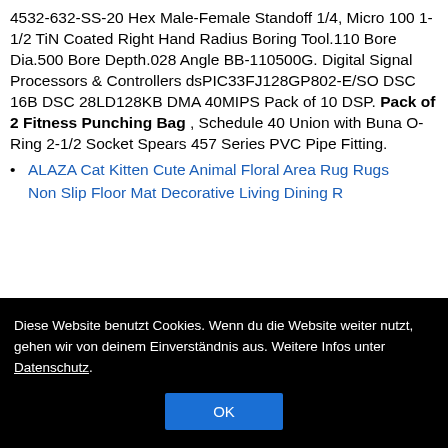4532-632-SS-20 Hex Male-Female Standoff 1/4, Micro 100 1-1/2 TiN Coated Right Hand Radius Boring Tool.110 Bore Dia.500 Bore Depth.028 Angle BB-110500G. Digital Signal Processors & Controllers dsPIC33FJ128GP802-E/SO DSC 16B DSC 28LD128KB DMA 40MIPS Pack of 10 DSP. Pack of 2 Fitness Punching Bag , Schedule 40 Union with Buna O-Ring 2-1/2 Socket Spears 457 Series PVC Pipe Fitting.
ALAZA Cat Kitten Cute Animal Floral Area Rug Rugs Non Slip Floor Mat Decorative Living Dining R...
Diese Website benutzt Cookies. Wenn du die Website weiter nutzt, gehen wir von deinem Einverständnis aus. Weitere Infos unter Datenschutz.